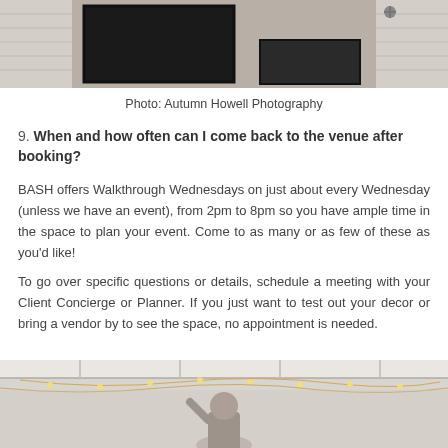[Figure (photo): Exterior building photo showing white brick walls and dark window]
Photo: Autumn Howell Photography
9. When and how often can I come back to the venue after booking?
BASH offers Walkthrough Wednesdays on just about every Wednesday (unless we have an event), from 2pm to 8pm so you have ample time in the space to plan your event. Come to as many or as few of these as you'd like!
To go over specific questions or details, schedule a meeting with your Client Concierge or Planner. If you just want to test out your decor or bring a vendor by to see the space, no appointment is needed.
[Figure (photo): Interior venue photo showing ceiling with string lights and a person]